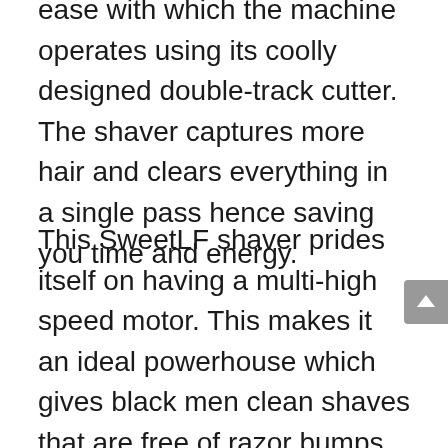ease with which the machine operates using its coolly designed double-track cutter. The shaver captures more hair and clears everything in a single pass hence saving you time and energy.
This SweetLF shaver prides itself on having a multi-high speed motor. This makes it an ideal powerhouse which gives black men clean shaves that are free of razor bumps and ingrown hairs. This powerful motor also means that you won't experience noise while shaving. It is indeed the best electric shaver for black